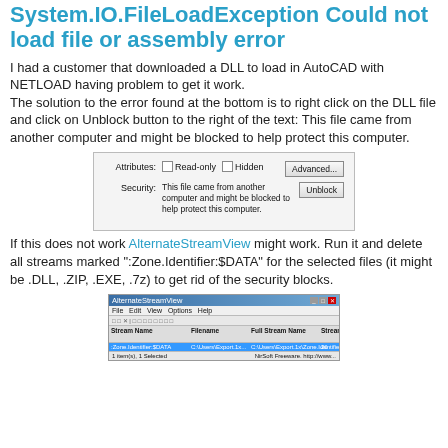System.IO.FileLoadException Could not load file or assembly error
I had a customer that downloaded a DLL to load in AutoCAD with NETLOAD having problem to get it work.
The solution to the error found at the bottom is to right click on the DLL file and click on Unblock button to the right of the text: This file came from another computer and might be blocked to help protect this computer.
[Figure (screenshot): Windows file properties dialog showing Attributes (Read-only, Hidden) and Security section with Unblock button]
If this does not work AlternateStreamView might work. Run it and delete all streams marked ":Zone.Identifier:$DATA" for the selected files (it might be .DLL, .ZIP, .EXE, .7z) to get rid of the security blocks.
[Figure (screenshot): AlternateStreamView application window showing Zone.Identifier:$DATA stream selected]